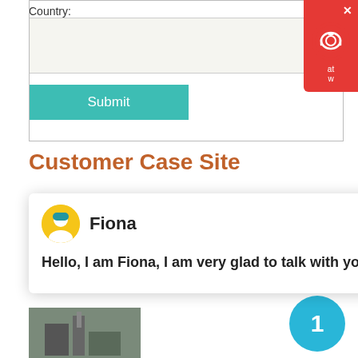Country:
[Figure (screenshot): Country input text field (form element)]
[Figure (screenshot): Submit button in teal/turquoise color]
[Figure (screenshot): Red chat widget in top-right corner with X close button and headset icon]
Customer Case Site
[Figure (screenshot): Fiona chat popup with avatar, name 'Fiona', and message 'Hello, I am Fiona, I am very glad to talk with you!']
[Figure (photo): Industrial machinery/plant photo]
[Figure (other): Blue circle badge with number 1]
100 Mesh Dolomite Grinding Mills MTW 110 In Ethiopia
Capacity: 6 t/h
[Figure (photo): Dolomite grinding mill equipment photo in field]
[Figure (photo): Partial image at bottom - another MTW grinding plant]